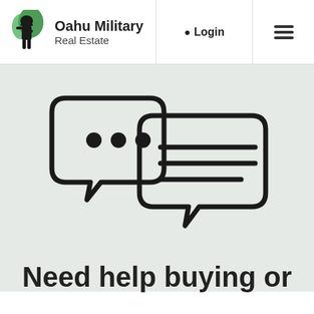Oahu Military Real Estate | Login | Menu
[Figure (illustration): Two speech bubbles icon: a smaller bubble with three dots (typing indicator) on the left overlapping with a larger bubble containing three horizontal lines (text lines) on the right]
Need help buying or